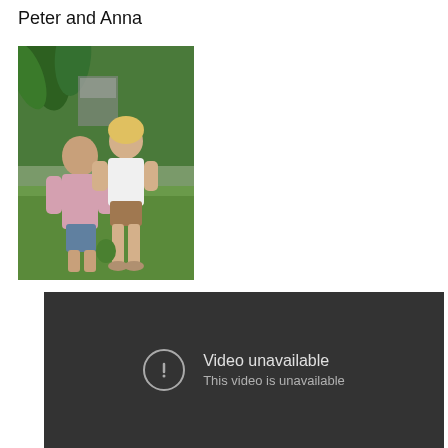Peter and Anna
[Figure (photo): Photo of two people (Peter and Anna) posing outdoors on a lawn with tropical plants in the background. A man in a pink shirt and a woman in a white top are crouching/posing together.]
[Figure (screenshot): Video player showing 'Video unavailable' error message with exclamation icon and text 'This video is unavailable' on a dark background.]